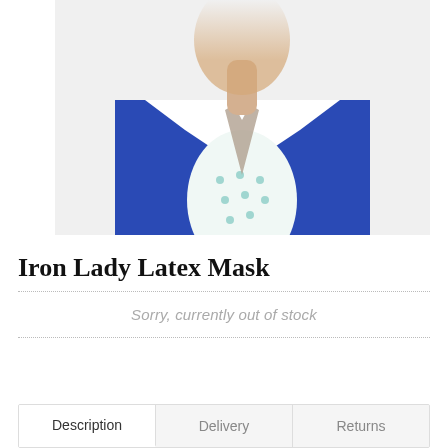[Figure (photo): Product photo of Iron Lady Latex Mask showing a person wearing a blue blazer over a white and teal patterned shirt, face blurred/cropped at top, photographed from chest up on white background]
Iron Lady Latex Mask
Sorry, currently out of stock
Description | Delivery | Returns